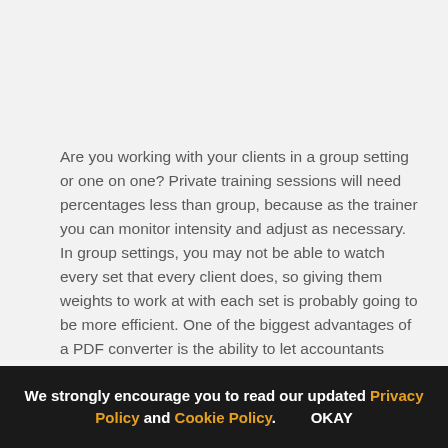Are you working with your clients in a group setting or one on one? Private training sessions will need percentages less than group, because as the trainer you can monitor intensity and adjust as necessary. In group settings, you may not be able to watch every set that every client does, so giving them weights to work at with each set is probably going to be more efficient. One of the biggest advantages of a PDF converter is the ability to let accountants analyze spreadsheets attained from PDF files. This ability is very valuable and can save thousands of
We strongly encourage you to read our updated Privacy Policy and Cookie Policy. OKAY